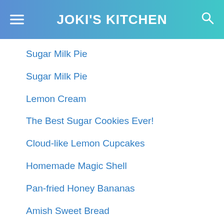JOKI'S KITCHEN
Sugar Milk Pie
Sugar Milk Pie
Lemon Cream
The Best Sugar Cookies Ever!
Cloud-like Lemon Cupcakes
Homemade Magic Shell
Pan-fried Honey Bananas
Amish Sweet Bread
Italian Pastry Cream
The Science Behind Temperatures - Baking Temperatu...
Mini Chocolate Peanut Butter Pies
15 Lower-Carb Whole Food Swaps